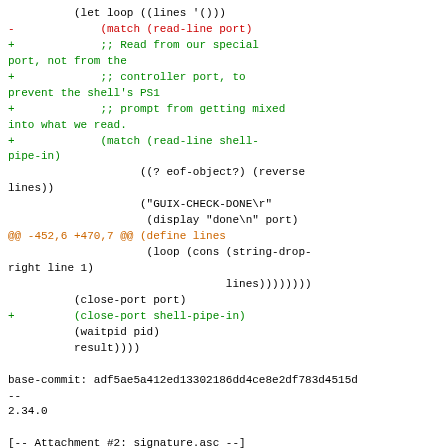Diff/patch code showing changes to a Scheme source file with base-commit info and attachment marker